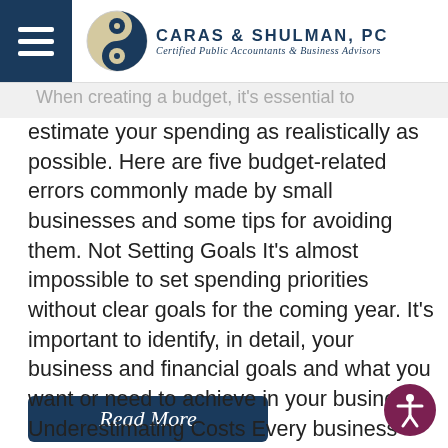[Figure (logo): Caras & Shulman PC logo with hamburger menu, circular yin-yang style logo mark, firm name and subtitle]
When creating a budget, it's essential to estimate your spending as realistically as possible. Here are five budget-related errors commonly made by small businesses and some tips for avoiding them. Not Setting Goals It's almost impossible to set spending priorities without clear goals for the coming year. It's important to identify, in detail, your business and financial goals and what you want or need to achieve in your business. Underestimating Costs Every business has ancillary or...
[Figure (other): Read More button (dark blue rounded rectangle)]
[Figure (other): Accessibility icon button (dark red/maroon circle with person symbol)]